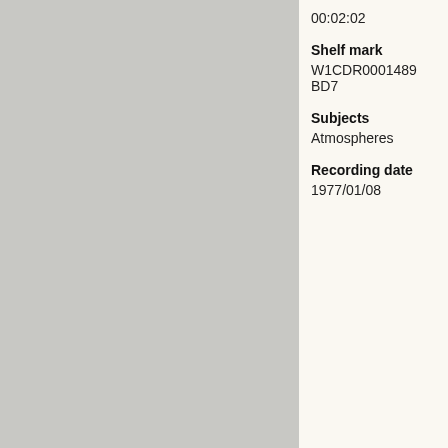00:02:02
Shelf mark
W1CDR0001489 BD7
Subjects
Atmospheres
Recording date
1977/01/08
User notes for this item
Terms and conditions | Report a
[Figure (photo): User avatar silhouette icon on dark background]
This recording be... nearby Blackbird ... call. This develop... bird flies closer. T... of this alarm is no... presence of the r... the vicinity. Unfor...
Posted by Cheryl